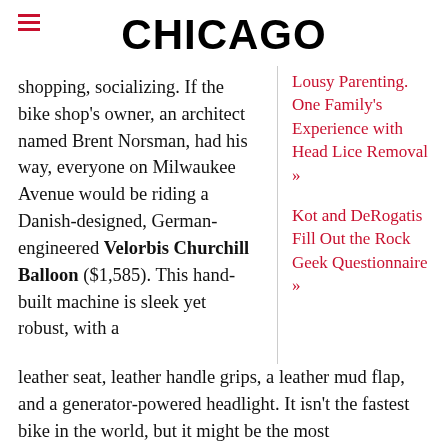CHICAGO
shopping, socializing. If the bike shop's owner, an architect named Brent Norsman, had his way, everyone on Milwaukee Avenue would be riding a Danish-designed, German-engineered Velorbis Churchill Balloon ($1,585). This hand-built machine is sleek yet robust, with a
Lousy Parenting. One Family's Experience with Head Lice Removal »
Kot and DeRogatis Fill Out the Rock Geek Questionnaire »
leather seat, leather handle grips, a leather mud flap, and a generator-powered headlight. It isn't the fastest bike in the world, but it might be the most